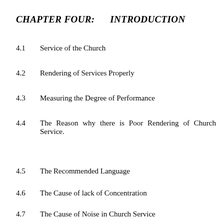CHAPTER FOUR:      INTRODUCTION
4.1    Service of the Church
4.2    Rendering of Services Properly
4.3    Measuring the Degree of Performance
4.4    The Reason why there is Poor Rendering of Church Service.
4.5    The Recommended Language
4.6    The Cause of lack of Concentration
4.7    The Cause of Noise in Church Service